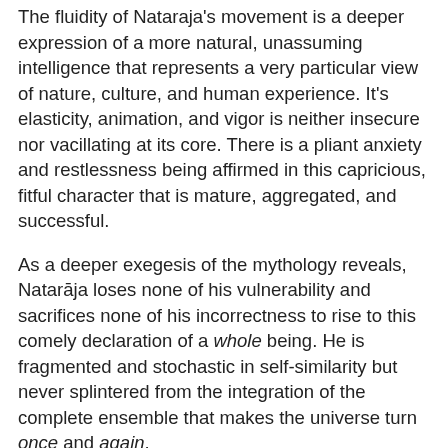The fluidity of Nataraja's movement is a deeper expression of a more natural, unassuming intelligence that represents a very particular view of nature, culture, and human experience.  It's elasticity, animation, and vigor is neither insecure nor vacillating at its core.  There is a pliant anxiety and restlessness being affirmed in this capricious, fitful character that is mature, aggregated, and successful.
As a deeper exegesis of the mythology reveals, Natarāja loses none of his vulnerability and sacrifices none of his incorrectness to rise to this comely declaration of a whole being.  He is fragmented and stochastic in self-similarity but never splintered from the integration of the complete ensemble that makes the universe turn once and again.
Mythically, Natarāja will be fraught, as we are, with misjudgments, unforced errors, and unanticipated lapses.  But he will not lose one iota of his dignity or decorum, much less his cachet and sublimity.  While his contradictions are no less ours, the consistency and magnitude of their sheer range and inclusiveness gives them gravity and value.